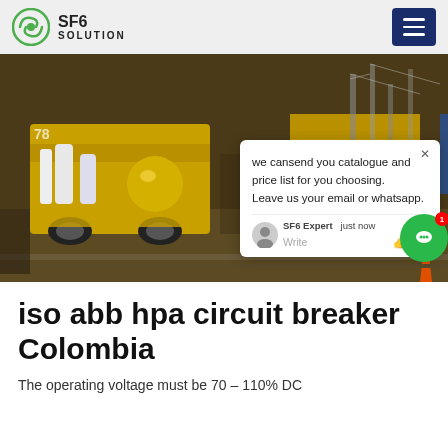SF6 SOLUTION
[Figure (photo): Industrial yellow SF6 gas handling cart/equipment on a rail platform at an electrical substation. A worker in blue is visible in the background. A chat popup overlay is visible in the lower-right area of the image with text: 'we can send you catalogue and price list for you choosing. Leave us your email or whatsapp.' Signed: SF6 Expert, just now.]
iso abb hpa circuit breaker Colombia
The operating voltage must be 70 – 110% DC